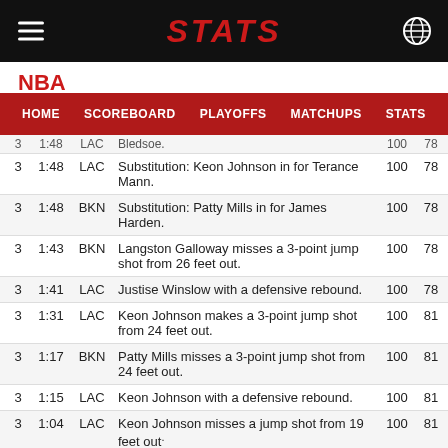STATS
NBA
|  |  |  |  |  |  |
| --- | --- | --- | --- | --- | --- |
| 3 | 1:48 | LAC | ...Bledsoe. | 100 | 78 |
| 3 | 1:48 | LAC | Substitution: Keon Johnson in for Terance Mann. | 100 | 78 |
| 3 | 1:48 | BKN | Substitution: Patty Mills in for James Harden. | 100 | 78 |
| 3 | 1:43 | BKN | Langston Galloway misses a 3-point jump shot from 26 feet out. | 100 | 78 |
| 3 | 1:41 | LAC | Justise Winslow with a defensive rebound. | 100 | 78 |
| 3 | 1:31 | LAC | Keon Johnson makes a 3-point jump shot from 24 feet out. | 100 | 81 |
| 3 | 1:17 | BKN | Patty Mills misses a 3-point jump shot from 24 feet out. | 100 | 81 |
| 3 | 1:15 | LAC | Keon Johnson with a defensive rebound. | 100 | 81 |
| 3 | 1:04 | LAC | Keon Johnson misses a jump shot from 19 feet out. | 100 | 81 |